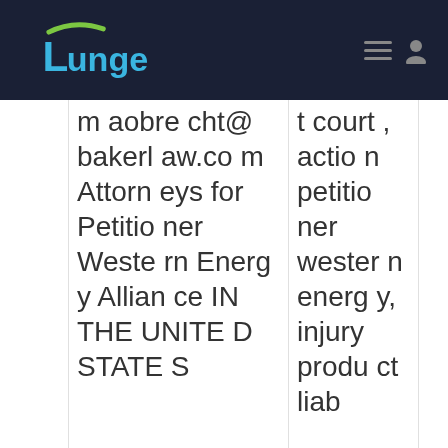Lunge
maobrecht@bakerlaw.com Attorneys for Petitioner Western Energy Alliance IN THE UNITED STATES
t court, action petitioner western energy, injury product liab